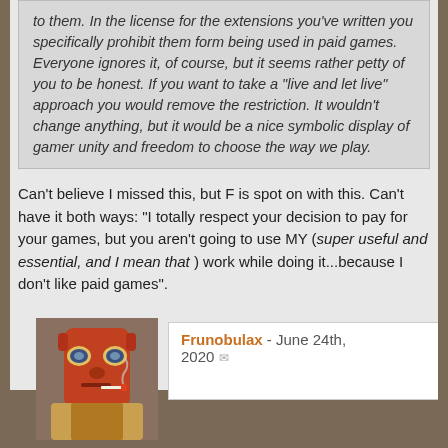to them. In the license for the extensions you've written you specifically prohibit them form being used in paid games. Everyone ignores it, of course, but it seems rather petty of you to be honest. If you want to take a "live and let live" approach you would remove the restriction. It wouldn't change anything, but it would be a nice symbolic display of gamer unity and freedom to choose the way we play.
Can't believe I missed this, but F is spot on with this. Can't have it both ways: "I totally respect your decision to pay for your games, but you aren't going to use MY (super useful and essential, and I mean that ) work while doing it...because I don't like paid games".
Frunobulax - June 24th, 2020
Originally Posted by dulux-oz
I'm talking about the inherent "conflict of interest" and increased potential for for corruption ie the referee being paid by one of the team of players (the only one) and the resulting potential fo the GM/referee to "go easy" on the player they are paid [...]